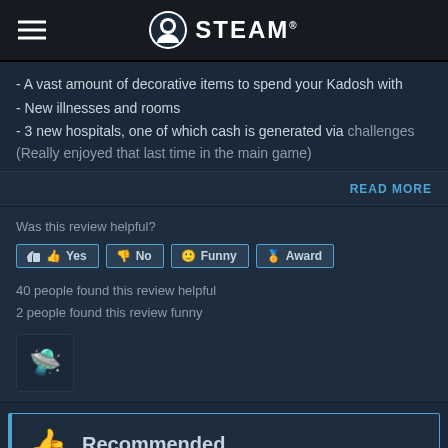STEAM
- A vast amount of decorative items to spend your Kadosh with
- New illnesses and rooms
- 3 new hospitals, one of which cash is generated via challenges (Really enjoyed that last time in the main game)
READ MORE
Was this review helpful?
Yes | No | Funny | Award
40 people found this review helpful
2 people found this review funny
[Figure (screenshot): Game icon/avatar thumbnail showing a small spaceship emoji on dark background]
Recommended
Freiya | 631 products in account | 103 reviews